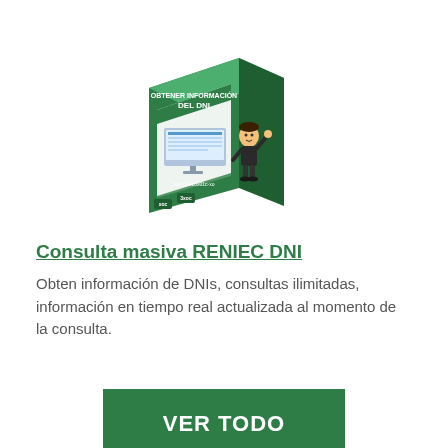[Figure (illustration): Product box illustration for 'Obtener Información del DNI' software, showing a green box with a cartoon character and a computer screen with a spreadsheet/database interface.]
Consulta masiva RENIEC DNI
Obten información de DNIs, consultas ilimitadas, información en tiempo real actualizada al momento de la consulta.
VER TODO